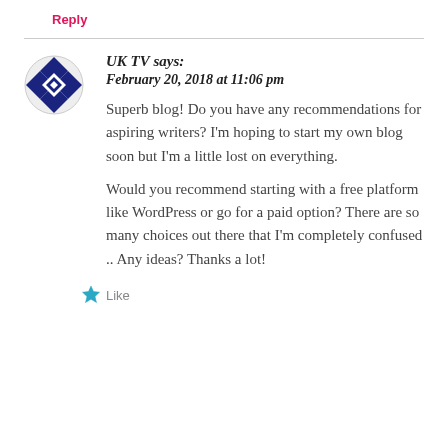Reply
UK TV says:
February 20, 2018 at 11:06 pm
Superb blog! Do you have any recommendations for aspiring writers? I'm hoping to start my own blog soon but I'm a little lost on everything.
Would you recommend starting with a free platform like WordPress or go for a paid option? There are so many choices out there that I'm completely confused .. Any ideas? Thanks a lot!
Like